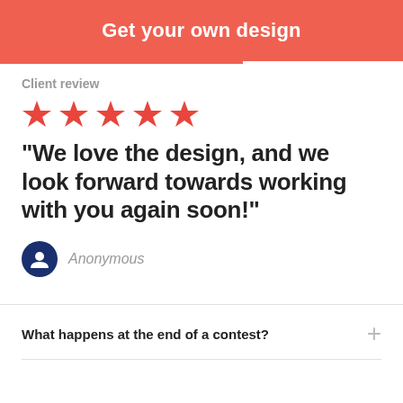Get your own design
Client review
[Figure (illustration): Five red star rating icons]
“We love the design, and we look forward towards working with you again soon!”
Anonymous
What happens at the end of a contest?